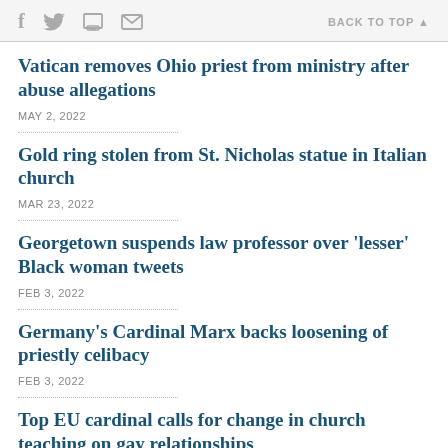f  [twitter] [print] [mail]   BACK TO TOP ▲
Vatican removes Ohio priest from ministry after abuse allegations
MAY 2, 2022
Gold ring stolen from St. Nicholas statue in Italian church
MAR 23, 2022
Georgetown suspends law professor over 'lesser' Black woman tweets
FEB 3, 2022
Germany's Cardinal Marx backs loosening of priestly celibacy
FEB 3, 2022
Top EU cardinal calls for change in church teaching on gay relationships